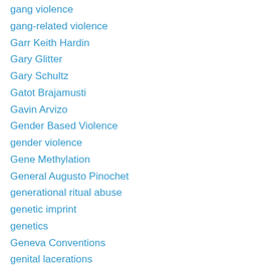gang violence
gang-related violence
Garr Keith Hardin
Gary Glitter
Gary Schultz
Gatot Brajamusti
Gavin Arvizo
Gender Based Violence
gender violence
Gene Methylation
General Augusto Pinochet
generational ritual abuse
genetic imprint
genetics
Geneva Conventions
genital lacerations
Gennifer Flowers
Genuine DID
geographical isolation
George Orwell